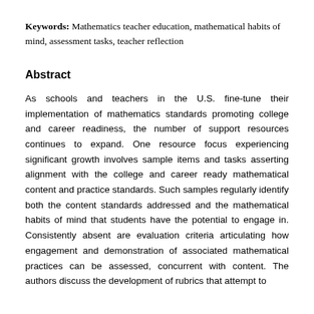Keywords: Mathematics teacher education, mathematical habits of mind, assessment tasks, teacher reflection
Abstract
As schools and teachers in the U.S. fine-tune their implementation of mathematics standards promoting college and career readiness, the number of support resources continues to expand. One resource focus experiencing significant growth involves sample items and tasks asserting alignment with the college and career ready mathematical content and practice standards. Such samples regularly identify both the content standards addressed and the mathematical habits of mind that students have the potential to engage in. Consistently absent are evaluation criteria articulating how engagement and demonstration of associated mathematical practices can be assessed, concurrent with content. The authors discuss the development of rubrics that attempt to